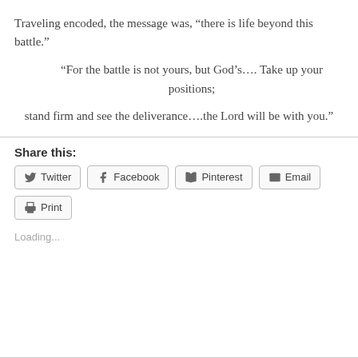Traveling encoded, the message was, “there is life beyond this battle.”
“For the battle is not yours, but God’s…. Take up your positions;
stand firm and see the deliverance….the Lord will be with you.”
Share this:
Twitter  Facebook  Pinterest  Email  Print
Loading...